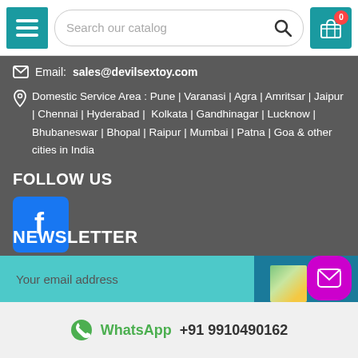[Figure (screenshot): Top navigation bar with teal menu button, search field reading 'Search our catalog', and teal cart icon with red badge showing 0]
Email: sales@devilsextoy.com
Domestic Service Area : Pune | Varanasi | Agra | Amritsar | Jaipur | Chennai | Hyderabad | Kolkata | Gandhinagar | Lucknow | Bhubaneswar | Bhopal | Raipur | Mumbai | Patna | Goa & other cities in India
FOLLOW US
[Figure (logo): Facebook icon — white 'f' on blue rounded square background]
NEWSLETTER
[Figure (screenshot): Email input field with teal background showing 'Your email address' placeholder and dark teal OK button with envelope icon]
WhatsApp +91 9910490162